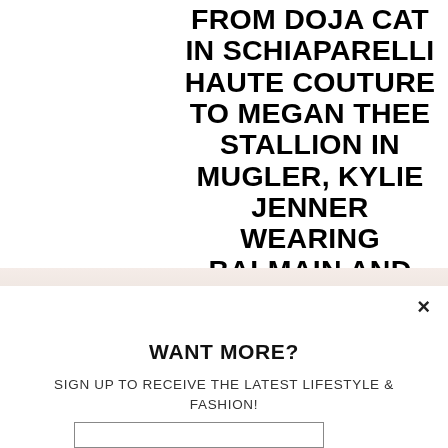FROM DOJA CAT IN SCHIAPARELLI HAUTE COUTURE TO MEGAN THEE STALLION IN MUGLER, KYLIE JENNER WEARING BALMAIN AND MORE
×
WANT MORE?
SIGN UP TO RECEIVE THE LATEST LIFESTYLE & FASHION!